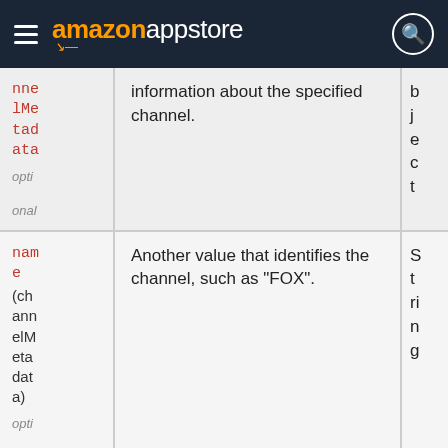amazon appstore
| Parameter | Description | Type |
| --- | --- | --- |
| channelMetadata
optional | information about the specified channel. | object |
| name
(channelMetadata)
optional | Another value that identifies the channel, such as "FOX". | String |